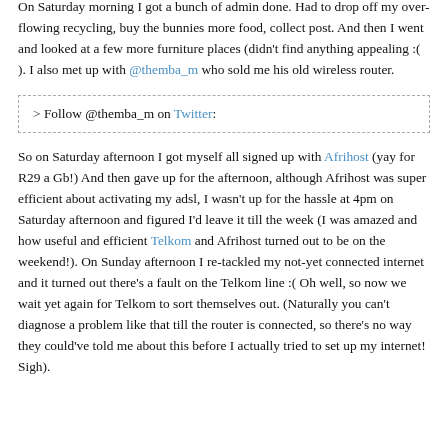a tomato basil sauce, sounds worth a try!)
On Saturday morning I got a bunch of admin done. Had to drop off my over-flowing recycling, buy the bunnies more food, collect post. And then I went and looked at a few more furniture places (didn't find anything appealing :( ). I also met up with @themba_m who sold me his old wireless router.
> Follow @themba_m on Twitter:
So on Saturday afternoon I got myself all signed up with Afrihost (yay for R29 a Gb!) And then gave up for the afternoon, although Afrihost was super efficient about activating my adsl, I wasn't up for the hassle at 4pm on Saturday afternoon and figured I'd leave it till the week (I was amazed and how useful and efficient Telkom and Afrihost turned out to be on the weekend!). On Sunday afternoon I re-tackled my not-yet connected internet and it turned out there's a fault on the Telkom line :( Oh well, so now we wait yet again for Telkom to sort themselves out. (Naturally you can't diagnose a problem like that till the router is connected, so there's no way they could've told me about this before I actually tried to set up my internet! Sigh).